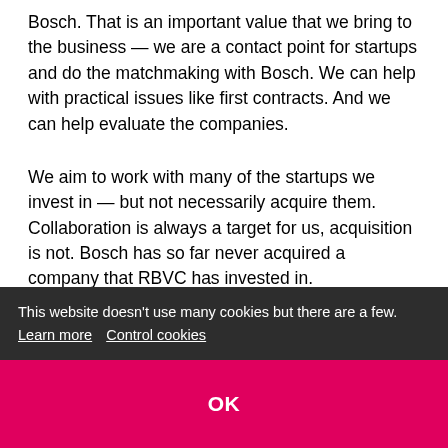Bosch. That is an important value that we bring to the business — we are a contact point for startups and do the matchmaking with Bosch. We can help with practical issues like first contracts. And we can help evaluate the companies.
We aim to work with many of the startups we invest in — but not necessarily acquire them. Collaboration is always a target for us, acquisition is not. Bosch has so far never acquired a company that RBVC has invested in.
What are the main areas you are interested in investing in?
...nation,
...gy.
Artificial intelligence is one of the key topics. AI is